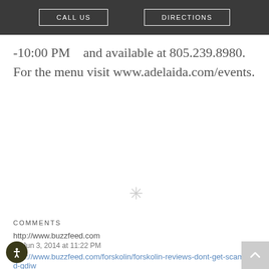CALL US | DIRECTIONS
-10:00 PM    and available at 805.239.8980.    For the menu visit www.adelaida.com/events.
COMMENTS
http://www.buzzfeed.com
@ Jun 3, 2014 at 11:22 PM
http://www.buzzfeed.com/forskolin/forskolin-reviews-dont-get-scammed-qdiw